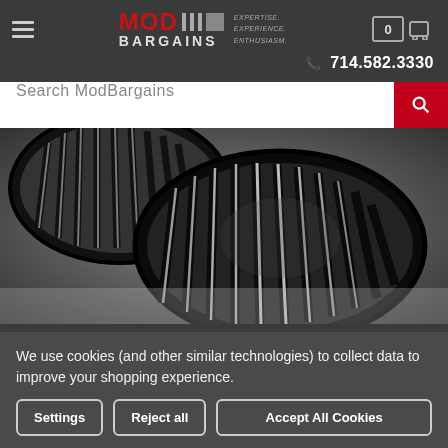ModBargains — EXPERTISE. EXPERIENCE. ENTHUSIASM. | 714.582.3330
Search ModBargains
[Figure (photo): Close-up photo of a pair of glossy black BMW kidney grilles on a light background]
We use cookies (and other similar technologies) to collect data to improve your shopping experience.
Settings | Reject all | Accept All Cookies